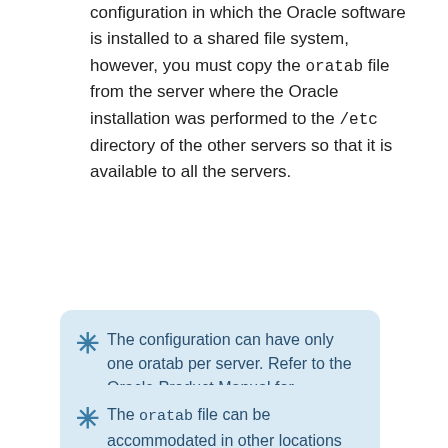configuration in which the Oracle software is installed to a shared file system, however, you must copy the oratab file from the server where the Oracle installation was performed to the /etc directory of the other servers so that it is available to all the servers.
The configuration can have only one oratab per server. Refer to the Oracle Product Manual for information on the file format.
The oratab file can be accommodated in other locations besides /etc.